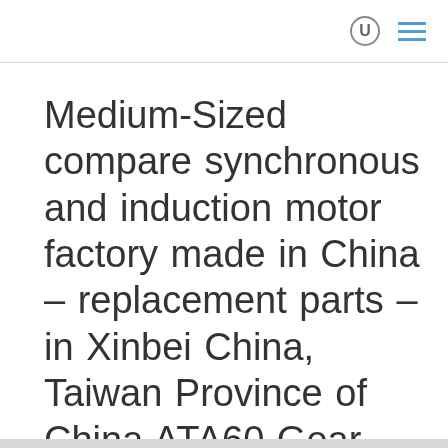Medium-Sized compare synchronous and induction motor factory made in China – replacement parts – in Xinbei China, Taiwan Province of China ATA60 Gear Reducer for EPT Crushers with top quality